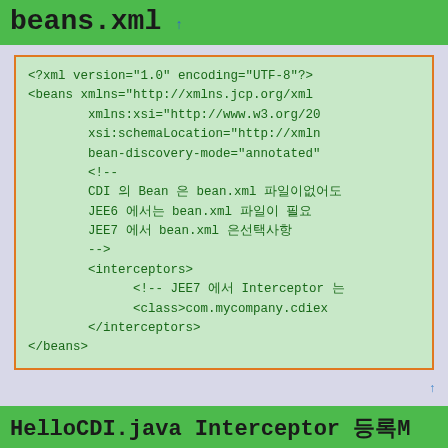beans.xml
[Figure (screenshot): Code block showing XML content of beans.xml file with CDI bean configuration including interceptors]
HelloCDI.java Interceptor 등록M